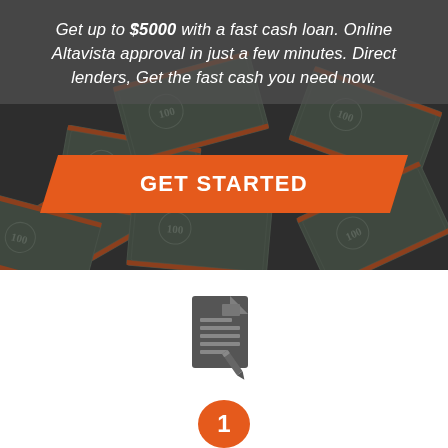[Figure (illustration): Hero banner with stacked US dollar bills (100s with orange bands) on a dark background, semi-transparent grey overlay at top with italic white text, and an orange parallelogram GET STARTED button in the center.]
Get up to $5000 with a fast cash loan. Online Altavista approval in just a few minutes. Direct lenders, Get the fast cash you need now.
GET STARTED
[Figure (illustration): Grey document/form icon with lines and a pen/pencil in the bottom right corner.]
1